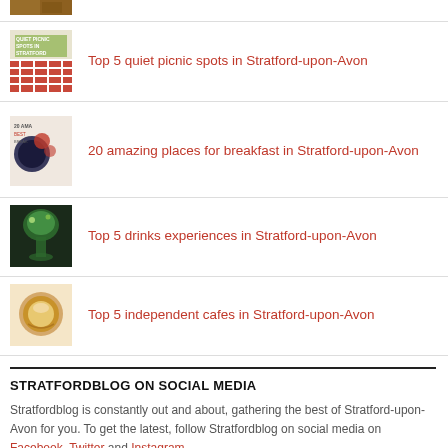[Figure (photo): Partial thumbnail of a food/restaurant image at top]
Top 5 quiet picnic spots in Stratford-upon-Avon
20 amazing places for breakfast in Stratford-upon-Avon
Top 5 drinks experiences in Stratford-upon-Avon
Top 5 independent cafes in Stratford-upon-Avon
STRATFORDBLOG ON SOCIAL MEDIA
Stratfordblog is constantly out and about, gathering the best of Stratford-upon-Avon for you. To get the latest, follow Stratfordblog on social media on Facebook, Twitter and Instagram.